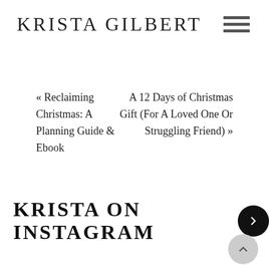KRISTA GILBERT
« Reclaiming Christmas: A Planning Guide & Ebook
A 12 Days of Christmas Gift (For A Loved One Or Struggling Friend) »
KRISTA ON INSTAGRAM